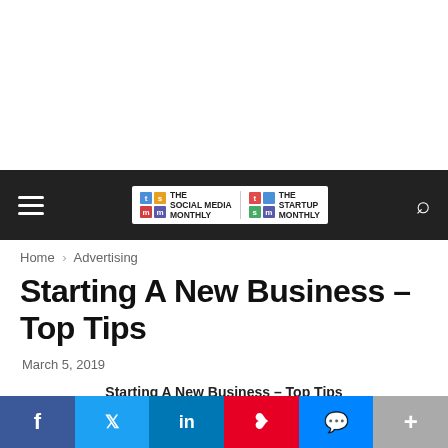[Figure (screenshot): Website navigation bar with hamburger menu, dual logo (The Social Media Monthly / The Startup Monthly), and search icon on dark background]
Home › Advertising
Starting A New Business – Top Tips
March 5, 2019
Starting A New Business – Top Tips
There's a lot to consider when you first set up a new business. Assuming that your business plan is complete and your business
[Figure (infographic): Social sharing bar at bottom with Facebook, Twitter, LinkedIn, Pinterest, Messenger, and More buttons]